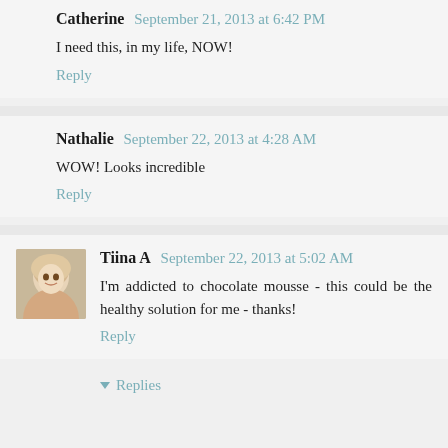Catherine September 21, 2013 at 6:42 PM
I need this, in my life, NOW!
Reply
Nathalie September 22, 2013 at 4:28 AM
WOW! Looks incredible
Reply
Tiina A September 22, 2013 at 5:02 AM
I'm addicted to chocolate mousse - this could be the healthy solution for me - thanks!
Reply
Replies